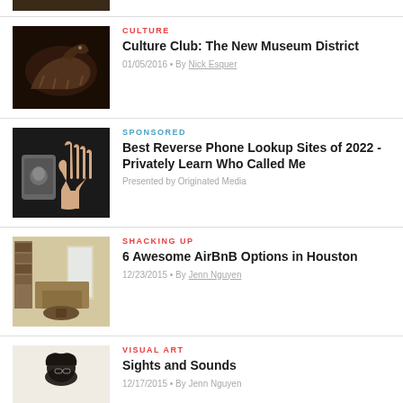[Figure (photo): Partial top image, cropped dinosaur skeleton museum display]
CULTURE
Culture Club: The New Museum District
01/05/2016 • By Nick Esquer
[Figure (photo): Person holding up hand in stop gesture, phone with unknown caller in background]
SPONSORED
Best Reverse Phone Lookup Sites of 2022 - Privately Learn Who Called Me
Presented by Originated Media
[Figure (photo): Cozy living room with bookshelves, sofa, and TV]
SHACKING UP
6 Awesome AirBnB Options in Houston
12/23/2015 • By Jenn Nguyen
[Figure (photo): Person with curly hair, partial view]
VISUAL ART
Sights and Sounds
12/17/2015 • By Jenn Nguyen